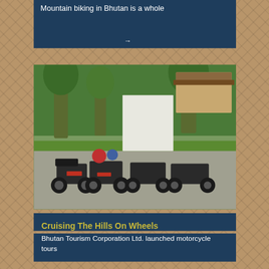Mountain biking in Bhutan is a whole
[Figure (photo): Several motorcycles parked in a courtyard with green trees and a traditional Bhutanese building in the background]
Cruising The Hills On Wheels
Bhutan Tourism Corporation Ltd. launched motorcycle tours